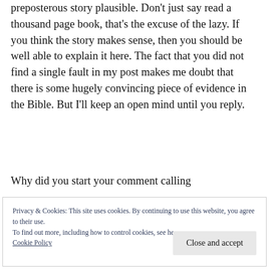preposterous story plausible. Don't just say read a thousand page book, that's the excuse of the lazy. If you think the story makes sense, then you should be well able to explain it here. The fact that you did not find a single fault in my post makes me doubt that there is some hugely convincing piece of evidence in the Bible. But I'll keep an open mind until you reply.
Why did you start your comment calling
Privacy & Cookies: This site uses cookies. By continuing to use this website, you agree to their use.
To find out more, including how to control cookies, see here:
Cookie Policy